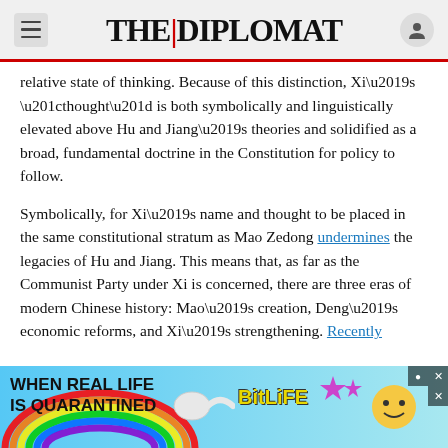THE DIPLOMAT
relative state of thinking. Because of this distinction, Xi’s “thought” is both symbolically and linguistically elevated above Hu and Jiang’s theories and solidified as a broad, fundamental doctrine in the Constitution for policy to follow.
Symbolically, for Xi’s name and thought to be placed in the same constitutional stratum as Mao Zedong undermines the legacies of Hu and Jiang. This means that, as far as the Communist Party under Xi is concerned, there are three eras of modern Chinese history: Mao’s creation, Deng’s economic reforms, and Xi’s strengthening. Recently
[Figure (photo): BitLife advertisement banner with rainbow background, text 'WHEN REAL LIFE IS QUARANTINED', BitLife game logo, and cartoon characters]